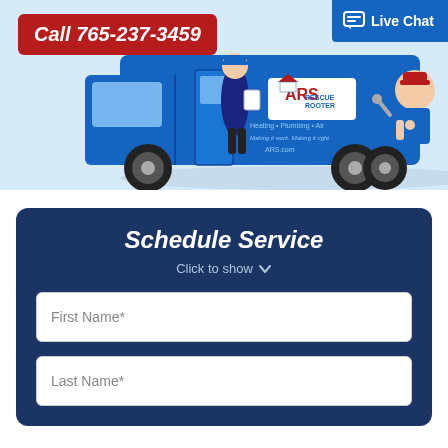[Figure (photo): ARS Rescue Rooter branded blue service van with a technician in uniform standing beside it, and a cartoon mascot plumber on the truck. Truck shows text: Heating · Plumbing · Air, Making it work. Making it right., ARS.com]
Call 765-237-3459
Live Chat
Schedule Service
Click to show ∨
First Name*
Last Name*